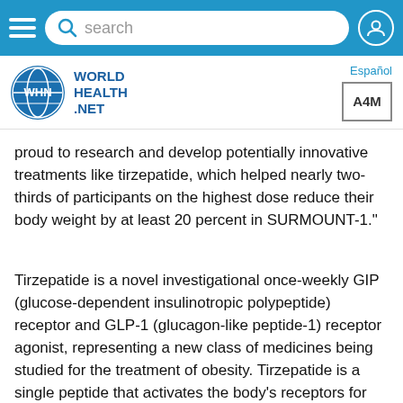search
[Figure (logo): World Health Net logo with globe icon and WHN initials, and A4M logo on right]
proud to research and develop potentially innovative treatments like tirzepatide, which helped nearly two-thirds of participants on the highest dose reduce their body weight by at least 20 percent in SURMOUNT-1."
Tirzepatide is a novel investigational once-weekly GIP (glucose-dependent insulinotropic polypeptide) receptor and GLP-1 (glucagon-like peptide-1) receptor agonist, representing a new class of medicines being studied for the treatment of obesity. Tirzepatide is a single peptide that activates the body's receptors for GIP and GLP-1, two natural incretin hormones. Tirzepatide is in phase 3 development for adults with obesity or overweight with weight-related comorbidities